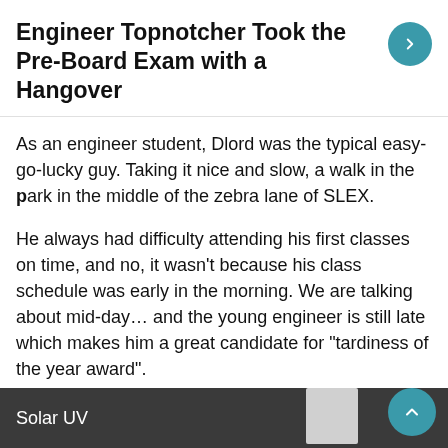Engineer Topnotcher Took the Pre-Board Exam with a Hangover
As an engineer student, Dlord was the typical easy-go-lucky guy. Taking it nice and slow, a walk in the park in the middle of the zebra lane of SLEX.
He always had difficulty attending his first classes on time, and no, it wasn't because his class schedule was early in the morning. We are talking about mid-day... and the young engineer is still late which makes him a great candidate for “tardiness of the year award”.
Even if the class starts at three in the afternoon, the aspiring engineer from San Carlos City, Pangasinan will still be half an hour late.
[Figure (photo): Dark banner at the bottom showing 'Solar UV' text with a partial image of a product]